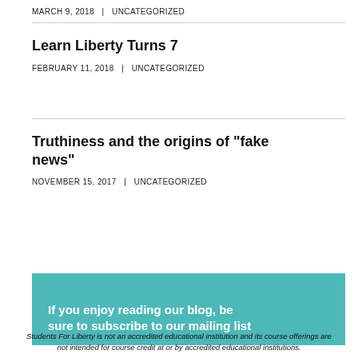MARCH 9, 2018   |   UNCATEGORIZED
Learn Liberty Turns 7
FEBRUARY 11, 2018   |   UNCATEGORIZED
Truthiness and the origins of "fake news"
NOVEMBER 15, 2017   |   UNCATEGORIZED
If you enjoy reading our blog, be sure to subscribe to our mailing list
Students For Liberty is not an accredited educational institution and its course offerings are not intended for course credit at or by accredited educational institutions.